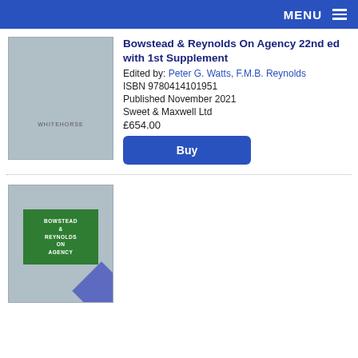MENU
[Figure (photo): Book cover of Bowstead & Reynolds On Agency 22nd edition, grey cover with small text]
Bowstead & Reynolds On Agency 22nd ed with 1st Supplement
Edited by: Peter G. Watts, F.M.B. Reynolds
ISBN 9780414101951
Published November 2021
Sweet & Maxwell Ltd
£654.00
[Figure (photo): Book cover of Bowstead & Reynolds On Agency, grey cover with green center panel showing title text and a purple corner ribbon]